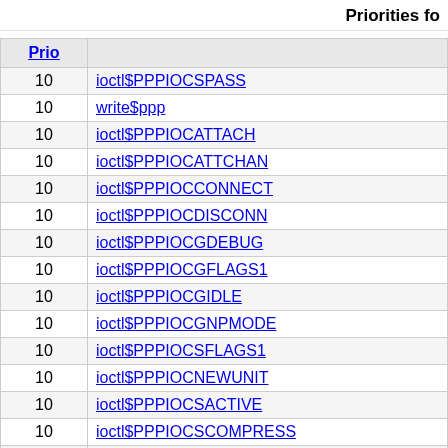Priorities fo
| Prio |  |
| --- | --- |
| 10 | ioctl$PPPLOCSPASS |
| 10 | write$ppp |
| 10 | ioctl$PPPLOCAT TACH |
| 10 | ioctl$PPPLOCATTCHAN |
| 10 | ioctl$PPPLOCCONNECT |
| 10 | ioctl$PPPPLOCDISCONN |
| 10 | ioctl$PPPLOCGDEBUG |
| 10 | ioctl$PPPLOCGFLAGS1 |
| 10 | ioctl$PPPLOCGIDLE |
| 10 | ioctl$PPPLOCGNPMODE |
| 10 | ioctl$PPPPLOCSFLAGS1 |
| 10 | ioctl$PPPLOCNEWUNIT |
| 10 | ioctl$PPPPLOCSACTIVE |
| 10 | ioctl$PPPPLOCSCOMPRESS |
| 10 | ioctl$PPPLOCSDEBUG |
| 10 | ioctl$PPPLOCSMAXCID |
| 10 | ioctl$PPPLOCSMRRU |
| 10 | ioctl$PPPLOCSMRU1 |